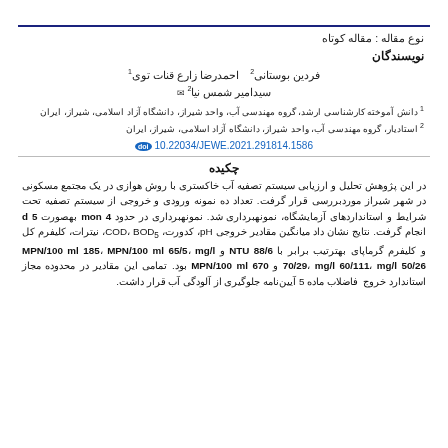... [partial title visible at top]
نوع مقاله : مقاله کوتاه
نویسندگان
احمدرضا زارع قنات توی 1   فردین بوستانی 2
سیدامیر شمس نیا 2
1 دانش آموخته کارشناسی ارشد، گروه مهندسی آب، واحد شیراز، دانشگاه آزاد اسلامی، شیراز، ایران
2 استادیار، گروه مهندسی آب، واحد شیراز، دانشگاه آزاد اسلامی، شیراز، ایران
doi 10.22034/JEWE.2021.291814.1586
چکیده
در این پژوهش تحلیل و ارزیابی سیستم تصفیه آب خاکستری با روش هوازی در یک مجتمع مسکونی در شهر شیراز موردبررسی قرار گرفت. تعداد ده نمونه ورودی و خروجی از سیستم تصفیه تحت شرایط و استانداردهای آزمایشگاه، نمونهبرداری شد. نمونهبرداری در حدود mon 4 بهصورت d 5 انجام گرفت. نتایج نشان داد میانگین مقادیر خروجی pH، کدورت، COD، BOD5، نیترات، کلیفرم کل و کلیفرم گرماپای بهترتیب برابر با NTU 88/6 و MPN/100 ml 185، MPN/100 ml 65/5، mg/l 70/29، mg/l 60/111، mg/l 50/26 و MPN/100 ml 670 بود. تمامی این مقادیر در محدوده مجاز استاندارد خروج فاضلاب ماده 5 آیین‌نامه جلوگیری از آلودگی آب قرار داشت.